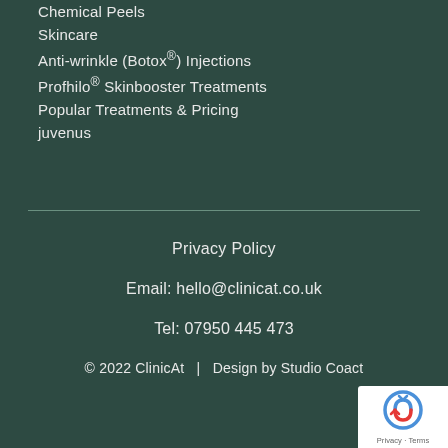Chemical Peels
Skincare
Anti-wrinkle (Botox®) Injections
Profhilo® Skinbooster Treatments
Popular Treatments & Pricing
juvenus
Privacy Policy
Email: hello@clinicat.co.uk
Tel: 07950 445 473
© 2022 ClinicAt   |   Design by Studio Coact